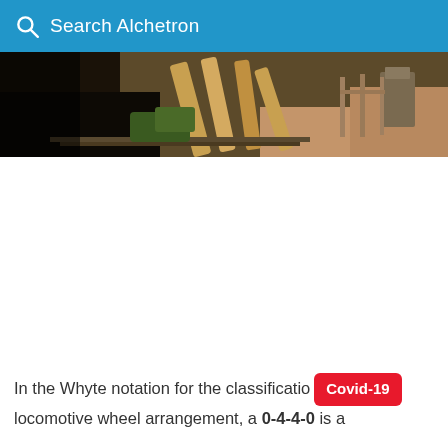Search Alchetron
[Figure (photo): Outdoor scene showing wooden beams/ramp structure over railway tracks with construction equipment and brown dirt ground visible]
In the Whyte notation for the classification of locomotive wheel arrangement, a 0-4-4-0 is a